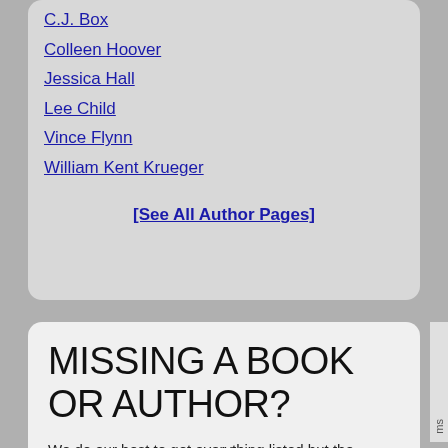C.J. Box
Colleen Hoover
Jessica Hall
Lee Child
Vince Flynn
William Kent Krueger
[See All Author Pages]
MISSING A BOOK OR AUTHOR?
We do our best to get everything listed but the occasional book gets by us. If you see anything missing please let us know so we can add it ASAP. You can also use this form to request we add new authors. Thanks. You can also e-mail us with any